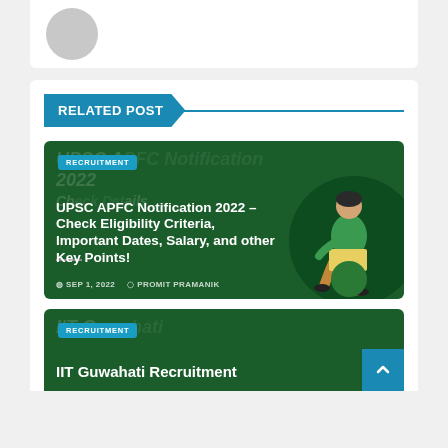[Figure (illustration): Gray avatar/profile circle on white card background at top]
RELATED POST
[Figure (illustration): Dark green article card with RECRUITMENT badge, ghost background text 'UPSC APFC Notification 2022', bold white title 'UPSC APFC Notification 2022 – Check Eligibility Criteria, Important Dates, Salary, and other Key Points!', meta info 'SEP 1, 2022' and 'PROMIT PRAMANIK', and seated person illustration on right]
[Figure (illustration): Dark green article card with RECRUITMENT badge, ghost text 'IIT Guwahati', bold white title 'IIT Guwahati Recruitment']